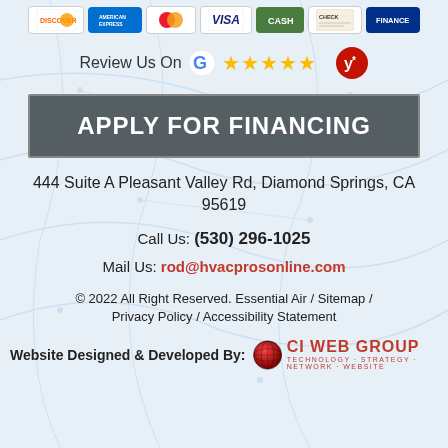[Figure (other): Payment method icons: Discover, American Express, Mastercard, Visa, Cash, Check, Finance]
[Figure (other): Review Us On Google (5 stars) and Yelp logos]
APPLY FOR FINANCING
444 Suite A Pleasant Valley Rd, Diamond Springs, CA 95619
Call Us: (530) 296-1025
Mail Us: rod@hvacprosonline.com
© 2022 All Right Reserved. Essential Air / Sitemap / Privacy Policy / Accessibility Statement
[Figure (logo): CI Web Group logo - Technology Strategy Network Website]